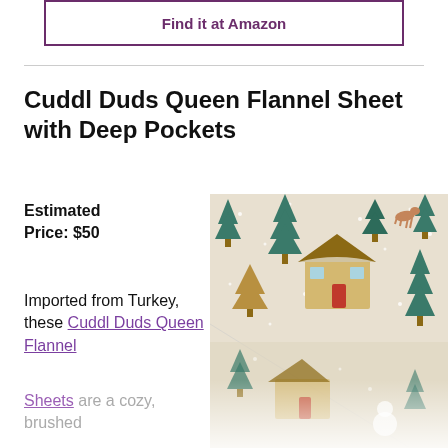Find it at Amazon
Cuddl Duds Queen Flannel Sheet with Deep Pockets
Estimated Price: $50
Imported from Turkey, these Cuddl Duds Queen Flannel Sheets are a cozy, brushed
[Figure (photo): Folded flannel bed sheets with a winter holiday print featuring trees, houses, deer, and snowflakes on a cream/beige background]